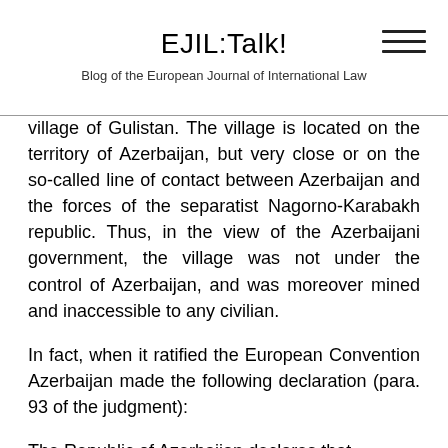EJIL:Talk!
Blog of the European Journal of International Law
village of Gulistan. The village is located on the territory of Azerbaijan, but very close or on the so-called line of contact between Azerbaijan and the forces of the separatist Nagorno-Karabakh republic. Thus, in the view of the Azerbaijani government, the village was not under the control of Azerbaijan, and was moreover mined and inaccessible to any civilian.
In fact, when it ratified the European Convention Azerbaijan made the following declaration (para. 93 of the judgment):
The Republic of Azerbaijan declares that